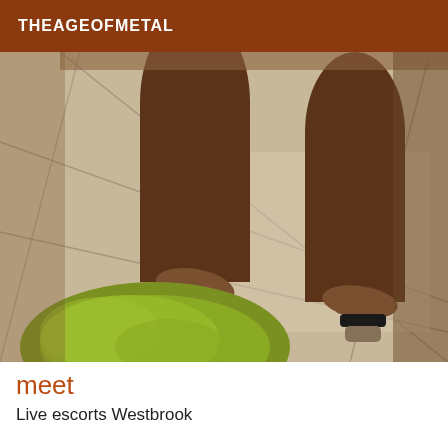THEAGEOFMETAL
[Figure (photo): Close-up photo of a person's legs from the knees down, wearing mule-style heeled shoes with black soles, standing on beige/cream tiled floor with grout lines. A round green shag rug is visible in the lower left corner.]
meet
Live escorts Westbrook